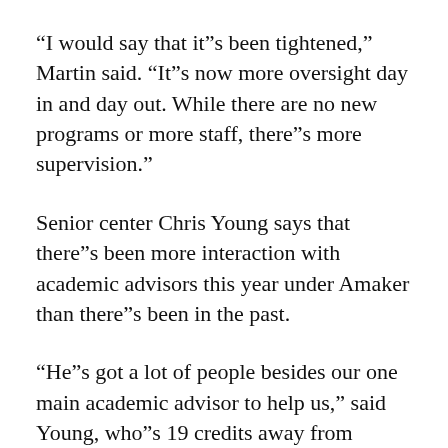“I would say that it”s been tightened,” Martin said. “It”s now more oversight day in and day out. While there are no new programs or more staff, there”s more supervision.”
Senior center Chris Young says that there”s been more interaction with academic advisors this year under Amaker than there”s been in the past.
“He”s got a lot of people besides our one main academic advisor to help us,” said Young, who”s 19 credits away from graduating. “He sets up meetings with advisors from different departments. We basically talk to people about our academics a ton.”